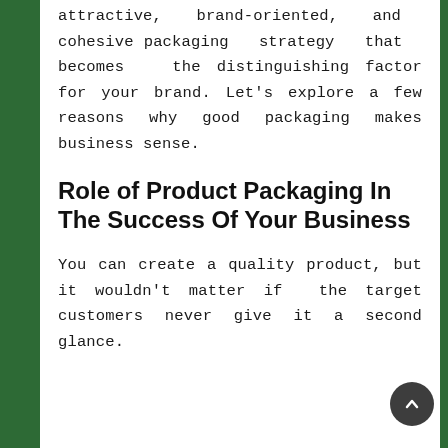attractive, brand-oriented, and cohesive packaging strategy that becomes the distinguishing factor for your brand. Let's explore a few reasons why good packaging makes business sense.
Role of Product Packaging In The Success Of Your Business
You can create a quality product, but it wouldn't matter if the target customers never give it a second glance.